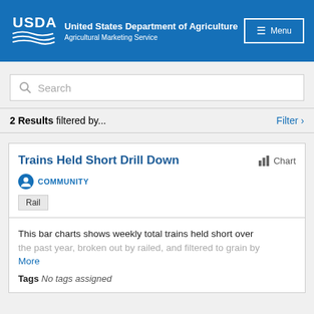United States Department of Agriculture — Agricultural Marketing Service
Search
2 Results filtered by...  Filter >
Trains Held Short Drill Down
COMMUNITY
Rail
This bar charts shows weekly total trains held short over the past year, broken out by railed, and filtered to grain by More
Tags  No tags assigned